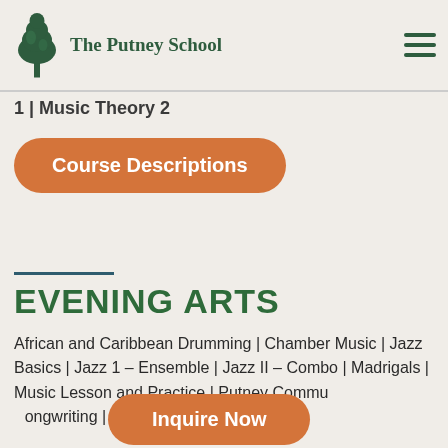The Putney School
1 | Music Theory 2
Course Descriptions
EVENING ARTS
African and Caribbean Drumming | Chamber Music | Jazz Basics | Jazz 1 – Ensemble | Jazz II – Combo | Madrigals | Music Lesson and Practice | Putney Community Songwriting | Traditional Music Ensemble
Inquire Now